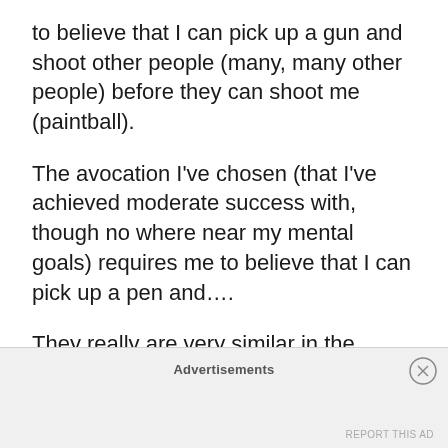to believe that I can pick up a gun and shoot other people (many, many other people) before they can shoot me (paintball).
The avocation I've chosen (that I've achieved moderate success with, though no where near my mental goals) requires me to believe that I can pick up a pen and....
They really are very similar in the manner in which ego/hubris/whatever plays. The big difference is that the sport is a zero-sum game (only one player or team can actually shoot everyone else out) whereas the writing game is
Advertisements